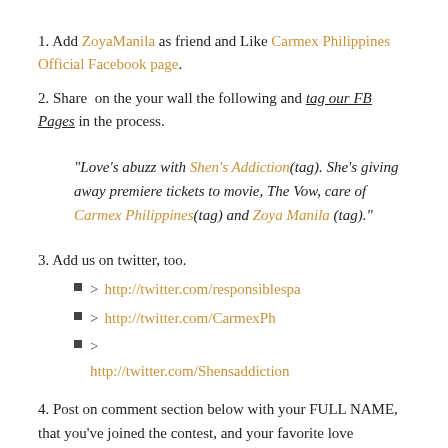1. Add ZoyaManila as friend and Like Carmex Philippines Official Facebook page.
2. Share on the your wall the following and tag our FB Pages in the process.
"Love’s abuzz with Shen’s Addiction(tag). She’s giving away premiere tickets to movie, The Vow, care of Carmex Philippines(tag) and Zoya Manila (tag)."
3. Add us on twitter, too.
> http://twitter.com/responsiblespa
> http://twitter.com/CarmexPh
> http://twitter.com/Shensaddiction
4. Post on comment section below with your FULL NAME, that you’ve joined the contest, and your favorite love